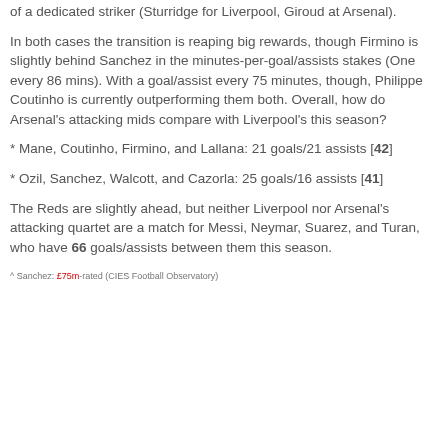of a dedicated striker (Sturridge for Liverpool, Giroud at Arsenal).
In both cases the transition is reaping big rewards, though Firmino is slightly behind Sanchez in the minutes-per-goal/assists stakes (One every 86 mins). With a goal/assist every 75 minutes, though, Philippe Coutinho is currently outperforming them both. Overall, how do Arsenal's attacking mids compare with Liverpool's this season?
* Mane, Coutinho, Firmino, and Lallana: 21 goals/21 assists [42]
* Ozil, Sanchez, Walcott, and Cazorla: 25 goals/16 assists [41]
The Reds are slightly ahead, but neither Liverpool nor Arsenal's attacking quartet are a match for Messi, Neymar, Suarez, and Turan, who have 66 goals/assists between them this season.
^ Sanchez: £75m-rated (CIES Football Observatory)